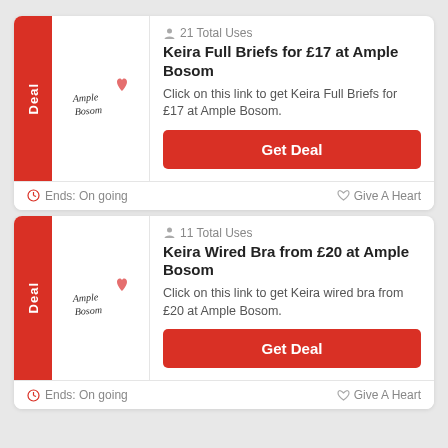21 Total Uses
Keira Full Briefs for £17 at Ample Bosom
Click on this link to get Keira Full Briefs for £17 at Ample Bosom.
Get Deal
Ends: On going
Give A Heart
11 Total Uses
Keira Wired Bra from £20 at Ample Bosom
Click on this link to get Keira wired bra from £20 at Ample Bosom.
Get Deal
Ends: On going
Give A Heart